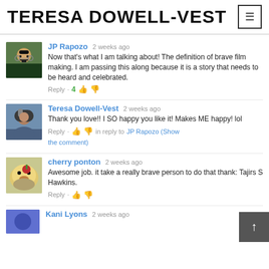TERESA DOWELL-VEST
JP Rapozo  2 weeks ago
Now that's what I am talking about! The definition of brave film making. I am passing this along because it is a story that needs to be heard and celebrated.
Reply · 4
Teresa Dowell-Vest  2 weeks ago
Thank you love!! I SO happy you like it! Makes ME happy! lol
Reply · in reply to JP Rapozo (Show the comment)
cherry ponton  2 weeks ago
Awesome job. it take a really brave person to do that thank: Tajirs S Hawkins.
Reply ·
Kani Lyons  2 weeks ago